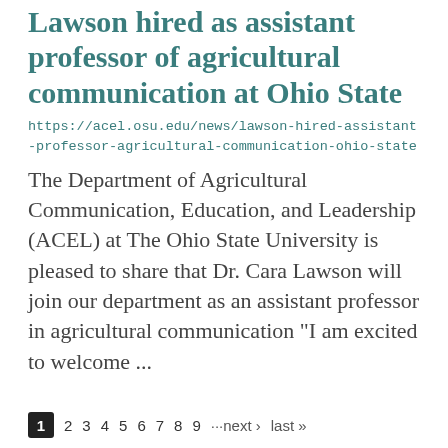Lawson hired as assistant professor of agricultural communication at Ohio State
https://acel.osu.edu/news/lawson-hired-assistant-professor-agricultural-communication-ohio-state
The Department of Agricultural Communication, Education, and Leadership (ACEL) at The Ohio State University is pleased to share that Dr. Cara Lawson will join our department as an assistant professor in agricultural communication “I am excited to welcome ...
1 2 3 4 5 6 7 8 9 ···next › last »